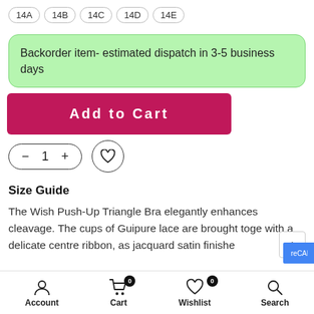14A
14B
14C
14D
14E
Backorder item- estimated dispatch in 3-5 business days
Add to Cart
- 1 +
Size Guide
The Wish Push-Up Triangle Bra elegantly enhances cleavage. The cups of Guipure lace are brought toge with a delicate centre ribbon, as jacquard satin finishe
Account  Cart 0  Wishlist 0  Search